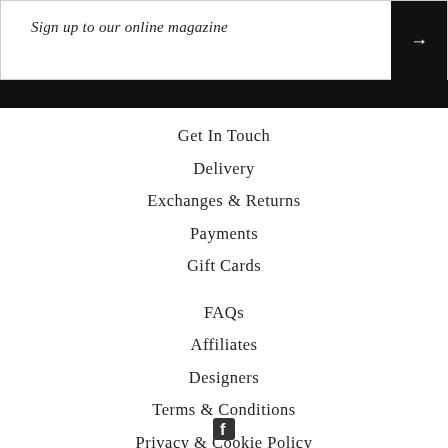Sign up to our online magazine
Get In Touch
Delivery
Exchanges & Returns
Payments
Gift Cards
FAQs
Affiliates
Designers
Terms & Conditions
Privacy & Cookie Policy
[Figure (illustration): Facebook icon at bottom center]